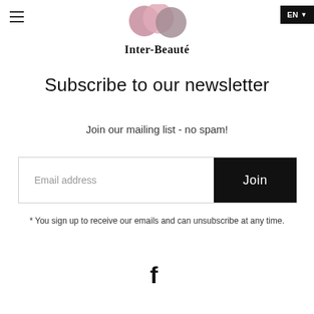[Figure (logo): Inter-Beauté logo with three overlapping circles in mauve/pink/grey and serif brand name below]
Subscribe to our newsletter
Join our mailing list - no spam!
Email address  |  Join
* You sign up to receive our emails and can unsubscribe at any time.
[Figure (illustration): Facebook social media icon (letter f)]